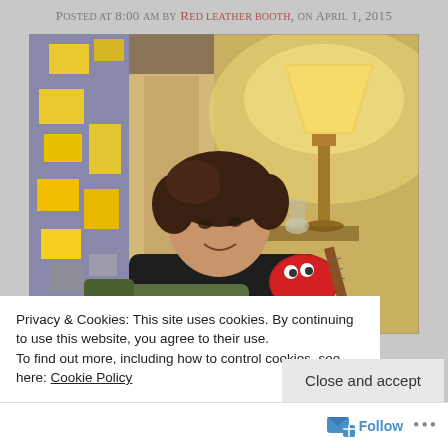Posted at 8:00 am by Red leather booth, on April 1, 2015
[Figure (photo): A young man with curly brown hair sitting in a couch, holding a small red ukulele with googly eyes. Behind him is a lit floor lamp with a cream shade, a beige fabric backdrop, and a colorful wall with yellow sticky notes on the left.]
Privacy & Cookies: This site uses cookies. By continuing to use this website, you agree to their use.
To find out more, including how to control cookies, see here: Cookie Policy